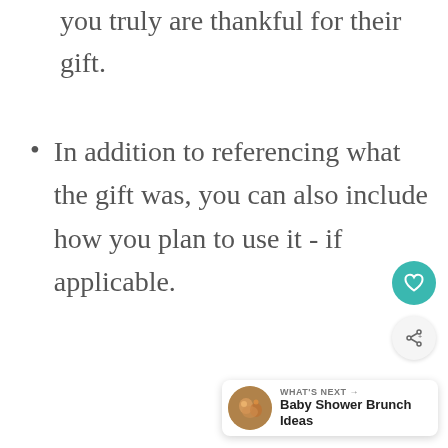you truly are thankful for their gift.
In addition to referencing what the gift was, you can also include how you plan to use it - if applicable.